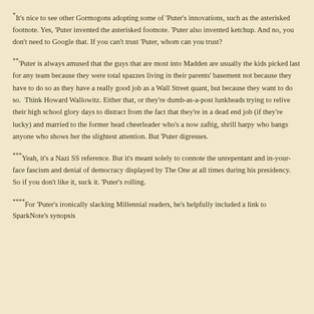*It's nice to see other Gormogons adopting some of 'Puter's innovations, such as the asterisked footnote. Yes, 'Puter invented the asterisked footnote. 'Puter also invented ketchup. And no, you don't need to Google that. If you can't trust 'Puter, whom can you trust?
**'Puter is always amused that the guys that are most into Madden are usually the kids picked last for any team because they were total spazzes living in their parents' basement not because they have to do so as they have a really good job as a Wall Street quant, but because they want to do so. Think Howard Wallowitz. Either that, or they're dumb-as-a-post lunkheads trying to relive their high school glory days to distract from the fact that they're in a dead end job (if they're lucky) and married to the former head cheerleader who's a now zaftig, shrill harpy who bangs anyone who shows her the slightest attention. But 'Puter digresses.
***Yeah, it's a Nazi SS reference. But it's meant solely to connote the unrepentant and in-your-face fascism and denial of democracy displayed by The One at all times during his presidency. So if you don't like it, suck it. 'Puter's rolling.
****For 'Puter's ironically slacking Millennial readers, he's helpfully included a link to SparkNote's synopsis